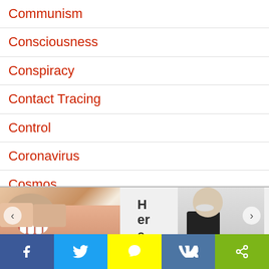Communism
Consciousness
Conspiracy
Contact Tracing
Control
Coronavirus
Cosmos
Crisis Actors
Crop Circles
[Figure (photo): Advertisement banner with close button, showing a photo of teeth/mouth on the left, text 'Here...' in middle, a photo of a woman in black top on the right with 'Do' text, and left/right navigation arrows]
[Figure (screenshot): Social media sharing bar with Facebook, Twitter, Snapchat, VK, and share buttons]